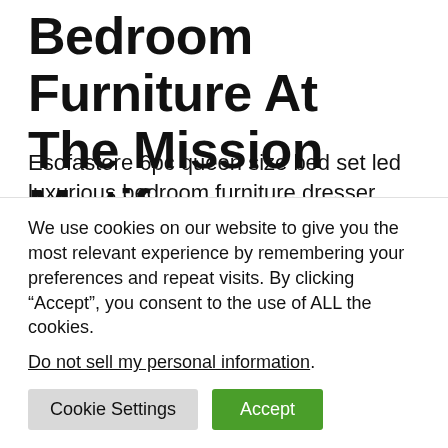Bedroom Furniture At The Mission Motif.
Esofastore 6pc queen size bed set led luxurious bedroom furniture dresser mirror 2x nightstands chest silver solid wood tufted leatherette. Bedroom sets and suites for sale in a variety of styles like luxury, elegant, modern, storage, wood, metal, and more. 3 piece dresser and nightstand bedroom set in
We use cookies on our website to give you the most relevant experience by remembering your preferences and repeat visits. By clicking “Accept”, you consent to the use of ALL the cookies.
Do not sell my personal information.
Cookie Settings | Accept